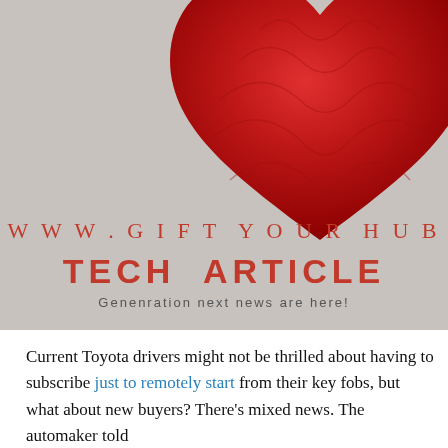[Figure (illustration): Banner image with a red knitted heart on a light grey/beige background. Large red serif text reads 'WWW.GIFT YOUR HUB' (partially cropped), below it bold red sans-serif 'TECH ARTICLE' (partially cropped), and below that 'Genenration next news are here!' in grey.]
Current Toyota drivers might not be thrilled about having to subscribe just to remotely start from their key fobs, but what about new buyers? There's mixed news. The automaker told